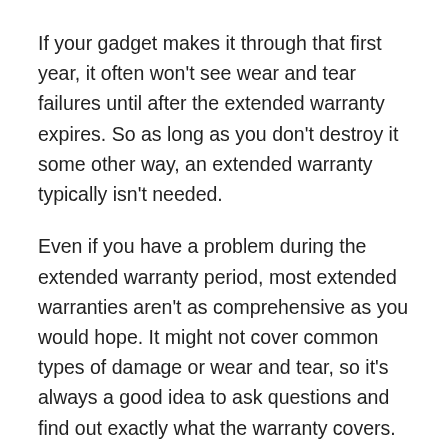If your gadget makes it through that first year, it often won't see wear and tear failures until after the extended warranty expires. So as long as you don't destroy it some other way, an extended warranty typically isn't needed.
Even if you have a problem during the extended warranty period, most extended warranties aren't as comprehensive as you would hope. It might not cover common types of damage or wear and tear, so it's always a good idea to ask questions and find out exactly what the warranty covers.
Don't forget that prices on many types of electronics drop fast. So, by the time a gadget does fail, the cost to repair it, or even replace it, might be less than what you paid for the extended warranty itself.
Instead of paying for a warranty, you might set the money